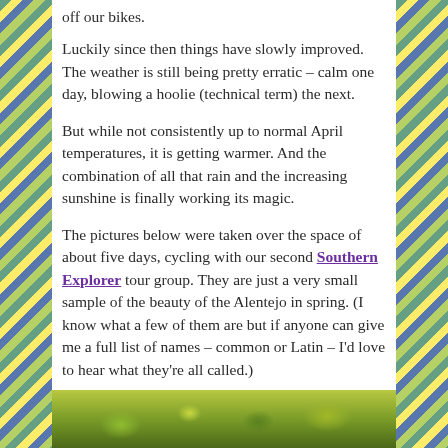off our bikes.
Luckily since then things have slowly improved. The weather is still being pretty erratic – calm one day, blowing a hoolie (technical term) the next.
But while not consistently up to normal April temperatures, it is getting warmer. And the combination of all that rain and the increasing sunshine is finally working its magic.
The pictures below were taken over the space of about five days, cycling with our second Southern Explorer tour group. They are just a very small sample of the beauty of the Alentejo in spring. (I know what a few of them are but if anyone can give me a full list of names – common or Latin – I'd love to hear what they're all called.)
[Figure (photo): A strip photo of green vegetation/grass in the Alentejo region of Portugal, shown at the bottom of the page.]